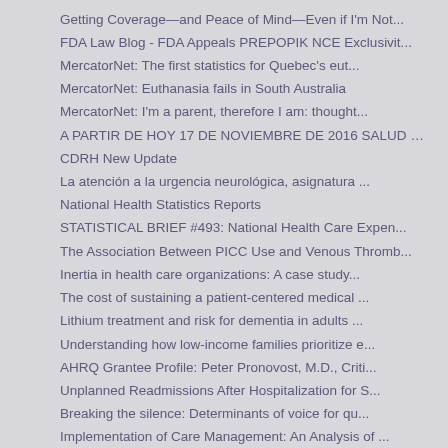Getting Coverage—and Peace of Mind—Even if I'm Not...
FDA Law Blog - FDA Appeals PREPOPIK NCE Exclusivit...
MercatorNet: The first statistics for Quebec's eut...
MercatorNet: Euthanasia fails in South Australia
MercatorNet: I'm a parent, therefore I am: thought...
A PARTIR DE HOY 17 DE NOVIEMBRE DE 2016 SALUD EQUI...
CDRH New Update
La atención a la urgencia neurológica, asignatura ...
National Health Statistics Reports
STATISTICAL BRIEF #493: National Health Care Expen...
The Association Between PICC Use and Venous Thromb...
Inertia in health care organizations: A case study...
The cost of sustaining a patient-centered medical ...
Lithium treatment and risk for dementia in adults ...
Understanding how low-income families prioritize e...
AHRQ Grantee Profile: Peter Pronovost, M.D., Criti...
Unplanned Readmissions After Hospitalization for S...
Breaking the silence: Determinants of voice for qu...
Implementation of Care Management: An Analysis of ...
Noninvasive Treatments for Low Back Pain
New AHRQ Publications Summarize Evidence on Treati...
Supporting Learning Health Systems By Andy Bindman...
Register, Submit Abstracts for 2017 TeamSTEPPS® Na...
TeamSTEPPS National Conference | Agency for Health...
Register Now: 9th Annual Conference on the Science...